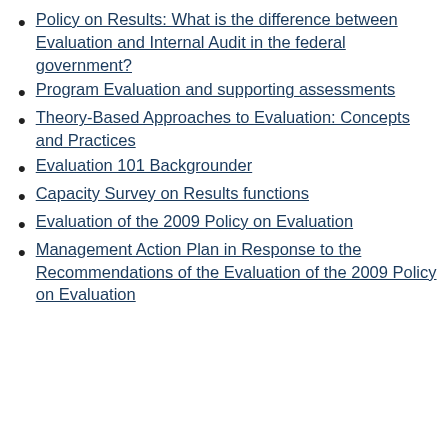Policy on Results: What is the difference between Evaluation and Internal Audit in the federal government?
Program Evaluation and supporting assessments
Theory-Based Approaches to Evaluation: Concepts and Practices
Evaluation 101 Backgrounder
Capacity Survey on Results functions
Evaluation of the 2009 Policy on Evaluation
Management Action Plan in Response to the Recommendations of the Evaluation of the 2009 Policy on Evaluation